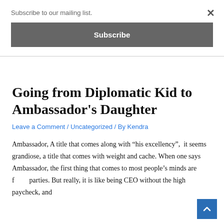Subscribe to our mailing list.
Subscribe
Going from Diplomatic Kid to Ambassador's Daughter
Leave a Comment / Uncategorized / By Kendra
Ambassador, A title that comes along with “his excellency”,  it seems grandiose, a title that comes with weight and cache. When one says Ambassador, the first thing that comes to most people’s minds are fancy parties. But really, it is like being CEO without the high paycheck, and